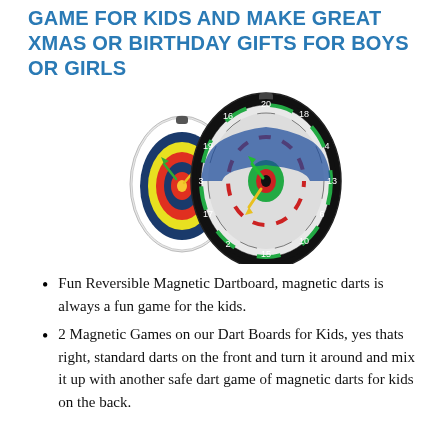GAME FOR KIDS AND MAKE GREAT XMAS OR BIRTHDAY GIFTS FOR BOYS OR GIRLS
[Figure (photo): Two magnetic dartboards side by side — a smaller archery-style target board on the left with concentric colored rings, and a larger standard dartboard on the right with classic black, red, blue, and white segments with numbers. Several magnetic darts are stuck into the boards.]
Fun Reversible Magnetic Dartboard, magnetic darts is always a fun game for the kids.
2 Magnetic Games on our Dart Boards for Kids, yes thats right, standard darts on the front and turn it around and mix it up with another safe dart game of magnetic darts for kids on the back.